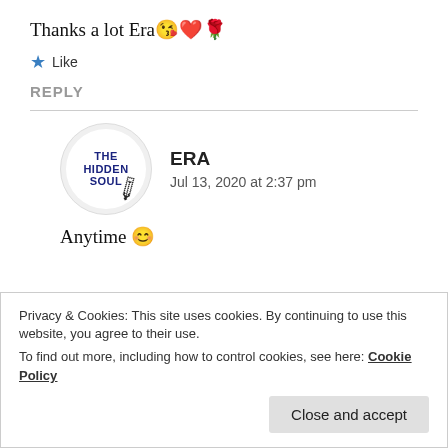Thanks a lot Era 😘❤️🌹
★ Like
REPLY
[Figure (illustration): Circular avatar for 'The Hidden Soul' blog with dark blue bold text and a pencil/glasses graphic]
ERA
Jul 13, 2020 at 2:37 pm
Anytime 😊
Privacy & Cookies: This site uses cookies. By continuing to use this website, you agree to their use.
To find out more, including how to control cookies, see here: Cookie Policy
Close and accept